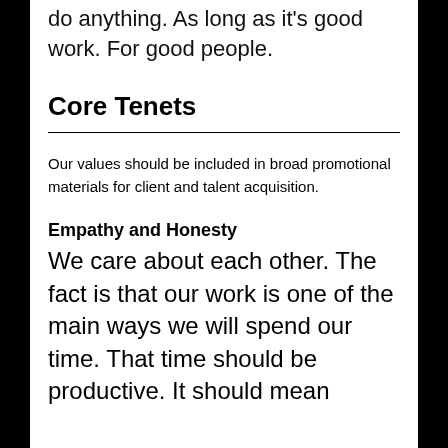do anything. As long as it's good work. For good people.
Core Tenets
Our values should be included in broad promotional materials for client and talent acquisition.
Empathy and Honesty
We care about each other. The fact is that our work is one of the main ways we will spend our time. That time should be productive. It should mean